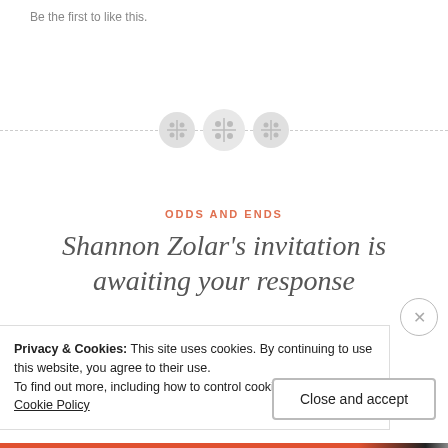Be the first to like this.
[Figure (illustration): Dashed horizontal divider with three circular button icons in the center]
ODDS AND ENDS
Shannon Zolar’s invitation is awaiting your response
November 24, 2014 · SMZolar · Leave a comment
Privacy & Cookies: This site uses cookies. By continuing to use this website, you agree to their use.
To find out more, including how to control cookies, see here: Cookie Policy
Close and accept